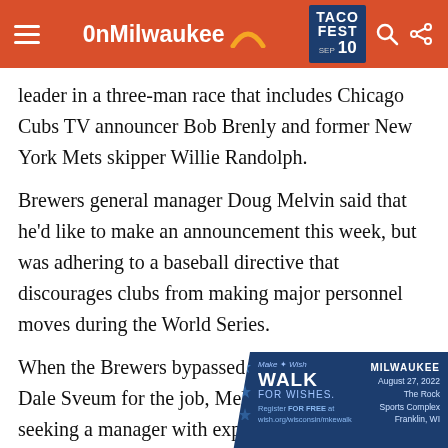OnMilwaukee — TACO FEST SEP 10
leader in a three-man race that includes Chicago Cubs TV announcer Bob Brenly and former New York Mets skipper Willie Randolph.
Brewers general manager Doug Melvin said that he'd like to make an announcement this week, but was adhering to a baseball directive that discourages clubs from making major personnel moves during the World Series.
When the Brewers bypassed inter... Dale Sveum for the job, Melvin sa... seeking a manager with experien... of success. In four seasons as manger in Oakland,
[Figure (infographic): Make-A-Wish Walk for Wishes advertisement. Milwaukee, August 27, 2022, The Rock Sports Complex, Franklin, WI. Register FOR FREE at wish.org/wisconsin/mkewalk]